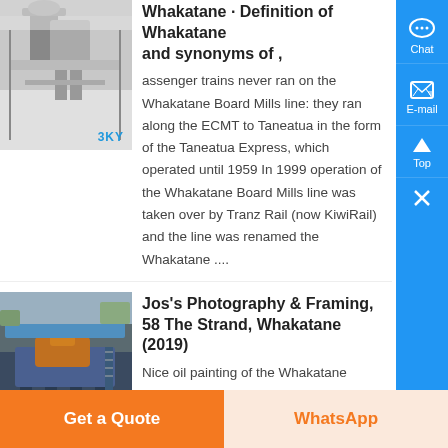[Figure (photo): Industrial machinery or mill equipment, grayish tones, with '3KY' watermark]
Whakatane · Definition of Whakatane and synonyms of ,
assenger trains never ran on the Whakatane Board Mills line: they ran along the ECMT to Taneatua in the form of the Taneatua Express, which operated until 1959 In 1999 operation of the Whakatane Board Mills line was taken over by Tranz Rail (now KiwiRail) and the line was renamed the Whakatane ....
[Figure (photo): Blue industrial crusher or mining equipment outdoors, with '3KY' watermark]
Jos's Photography & Framing, 58 The Strand, Whakatane (2019)
Nice oil painting of the Whakatane Board Mills back in the day 06/07/2018 Playing with paint and water (and Photoshop of course) 01/07/2018 A fuchsia flower